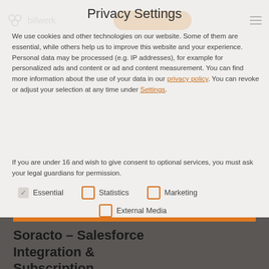Privacy Settings
We use cookies and other technologies on our website. Some of them are essential, while others help us to improve this website and your experience. Personal data may be processed (e.g. IP addresses), for example for personalized ads and content or ad and content measurement. You can find more information about the use of your data in our privacy policy. You can revoke or adjust your selection at any time under Settings.
If you are under 16 and wish to give consent to optional services, you must ask your legal guardians for permission.
Essential (checked)
Statistics (unchecked)
Marketing (unchecked)
External Media (unchecked)
Soracto – Salesforce Integration & Subscription